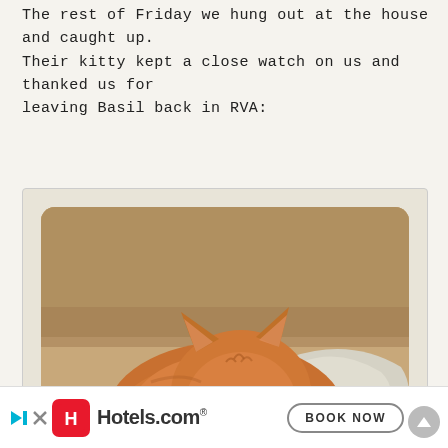The rest of Friday we hung out at the house and caught up. Their kitty kept a close watch on us and thanked us for leaving Basil back in RVA:
[Figure (photo): An orange tabby cat lying curled up on a light grey herringbone blanket, photographed in warm Instagram-style tones with rounded corners, set in a white polaroid-style frame.]
[Figure (other): Hotels.com advertisement banner with red logo icon showing H letter, Hotels.com text, and a BOOK NOW button with skip/close arrows.]